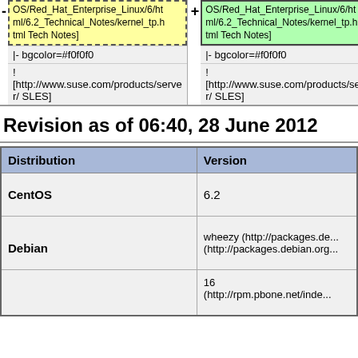| - OS/Red_Hat_Enterprise_Linux/6.html/6.2_Technical_Notes/kernel_tp.html Tech Notes] | + OS/Red_Hat_Enterprise_Linux/6.html/6.2_Technical_Notes/kernel_tp.html Tech Notes] |
| |- bgcolor=#f0f0f0 | |- bgcolor=#f0f0f0 |
| !
[http://www.suse.com/products/server/ SLES] | !
[http://www.suse.com/products/server/ SLES] |
Revision as of 06:40, 28 June 2012
| Distribution | Version |
| --- | --- |
| CentOS | 6.2 |
| Debian | wheezy (http://packages.de...(http://packages.debian.org... |
|  | 16
(http://rpm.pbone.net/inde... |